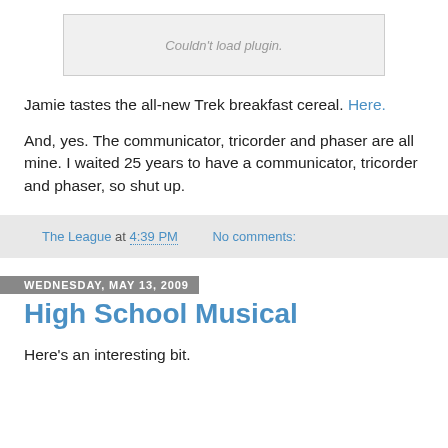[Figure (other): Plugin placeholder box showing 'Couldn't load plugin.' message in gray italic text]
Jamie tastes the all-new Trek breakfast cereal. Here.
And, yes. The communicator, tricorder and phaser are all mine. I waited 25 years to have a communicator, tricorder and phaser, so shut up.
The League at 4:39 PM    No comments:
Wednesday, May 13, 2009
High School Musical
Here's an interesting bit.